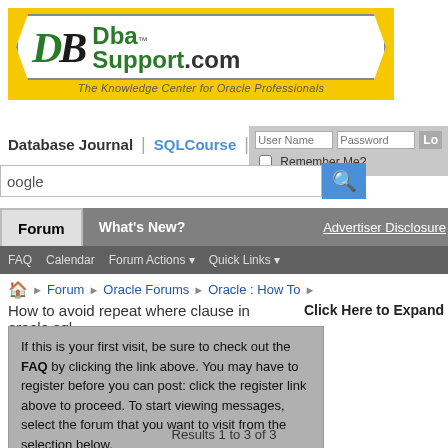[Figure (logo): DbaSupport.com logo on yellow background — The Knowledge Center for Oracle Professionals]
Database Journal | SQLCourse |
User Name  Password  Lo  Remember Me?
oogle (search bar with magnifier button)
Forum   What's New?   Advertiser Disclosure
FAQ   Calendar   Forum Actions ▾   Quick Links ▾
Forum ❯ Oracle Forums ❯ Oracle : How To ❯
How to avoid repeat where clause in oracle sql
Click Here to Expand
If this is your first visit, be sure to check out the FAQ by clicking the link above. You may have to register before you can post: click the register link above to proceed. To start viewing messages, select the forum that you want to visit from the selection below.
Results 1 to 3 of 3